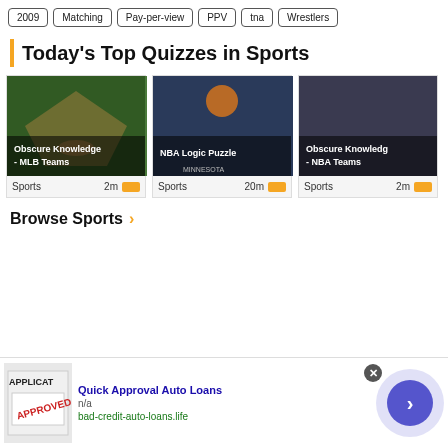2009
Matching
Pay-per-view
PPV
tna
Wrestlers
Today's Top Quizzes in Sports
[Figure (photo): Baseball stadium aerial view - quiz card for Obscure Knowledge - MLB Teams]
Obscure Knowledge - MLB Teams
Sports  2m
[Figure (photo): Basketball players reaching for ball - quiz card for NBA Logic Puzzle]
NBA Logic Puzzle
Sports  20m
[Figure (photo): NBA player celebrating - quiz card for Obscure Knowledge - NBA Teams]
Obscure Knowledge - NBA Teams
Sports  2m
Browse Sports
Quick Approval Auto Loans
n/a
bad-credit-auto-loans.life